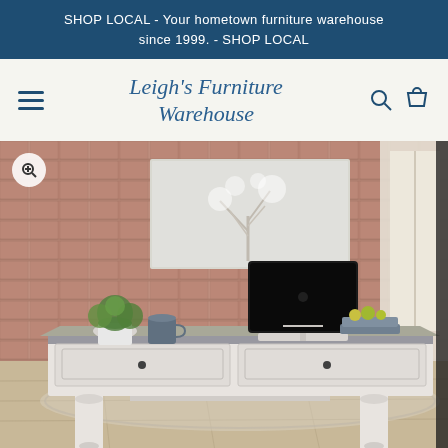SHOP LOCAL - Your hometown furniture warehouse since 1999. - SHOP LOCAL
Leigh's Furniture Warehouse
[Figure (photo): A white/antique desk with a gray top surface displayed in a room with an exposed brick wall background. On the desk: an iMac computer, a small potted plant, a blue mug, and a tray with items. The desk has carved legs and drawer with hardware pulls.]